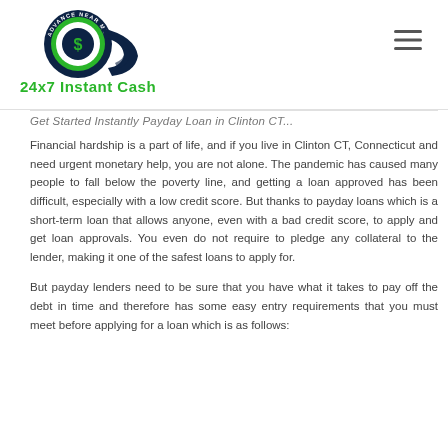24x7 Instant Cash
Get Started Instantly Payday Loan in Clinton CT
Financial hardship is a part of life, and if you live in Clinton CT, Connecticut and need urgent monetary help, you are not alone. The pandemic has caused many people to fall below the poverty line, and getting a loan approved has been difficult, especially with a low credit score. But thanks to payday loans which is a short-term loan that allows anyone, even with a bad credit score, to apply and get loan approvals. You even do not require to pledge any collateral to the lender, making it one of the safest loans to apply for.
But payday lenders need to be sure that you have what it takes to pay off the debt in time and therefore has some easy entry requirements that you must meet before applying for a loan which is as follows: